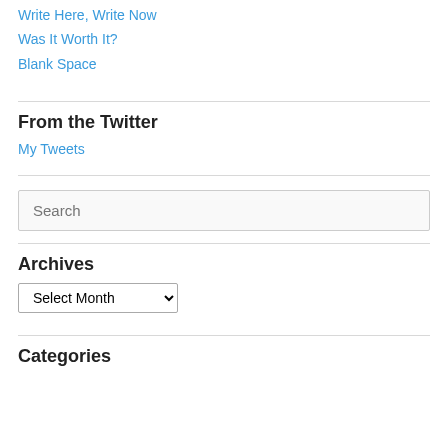Write Here, Write Now
Was It Worth It?
Blank Space
From the Twitter
My Tweets
Archives
Select Month (dropdown)
Categories